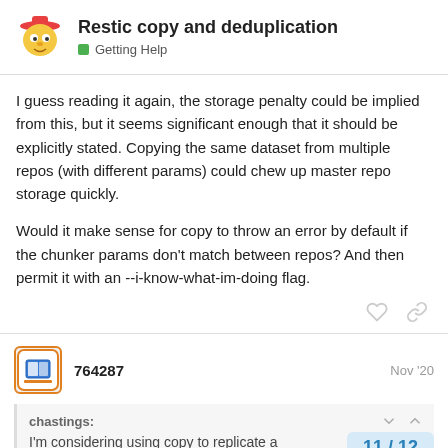Restic copy and deduplication — Getting Help
I guess reading it again, the storage penalty could be implied from this, but it seems significant enough that it should be explicitly stated. Copying the same dataset from multiple repos (with different params) could chew up master repo storage quickly.
Would it make sense for copy to throw an error by default if the chunker params don't match between repos? And then permit it with an --i-know-what-im-doing flag.
764287 — Nov '20
chastings: I'm considering using copy to replicate a...